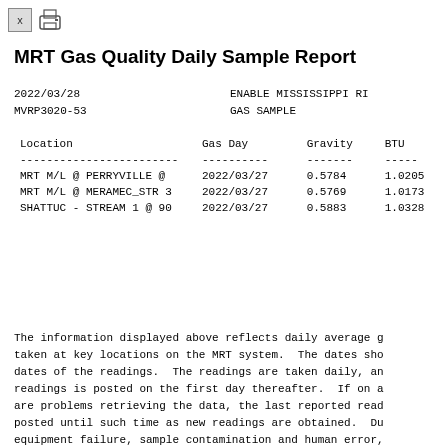MRT Gas Quality Daily Sample Report
2022/03/28
MVRP3020-53
ENABLE MISSISSIPPI RI
GAS SAMPLE
| Location | Gas Day | Gravity | BTU |
| --- | --- | --- | --- |
| ------------------------ | ---------- | ------- | ----- |
| MRT M/L @ PERRYVILLE  @ | 2022/03/27 | 0.5784 | 1.0205 |
| MRT M/L @ MERAMEC_STR 3 | 2022/03/27 | 0.5769 | 1.0173 |
| SHATTUC - STREAM 1 @ 90 | 2022/03/27 | 0.5883 | 1.0328 |
The information displayed above reflects daily average g taken at key locations on the MRT system.  The dates sho dates of the readings.  The readings are taken daily, an readings is posted on the first day thereafter.  If on a are problems retrieving the data, the last reported read posted until such time as new readings are obtained.  Du equipment failure, sample contamination and human error, displayed above may not be completely accurate.